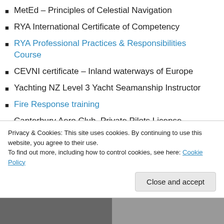MetEd – Principles of Celestial Navigation
RYA International Certificate of Competency
RYA Professional Practices & Responsibilities Course
CEVNI certificate – Inland waterways of Europe
Yachting NZ Level 3 Yacht Seamanship Instructor
Fire Response training
Canterbury Aero Club, Private Pilots License Meteorology paper
Meteorology course, Futurelearn MOOC – Reading University
MarineSafe Vessel Induction
Privacy & Cookies: This site uses cookies. By continuing to use this website, you agree to their use. To find out more, including how to control cookies, see here: Cookie Policy
Close and accept